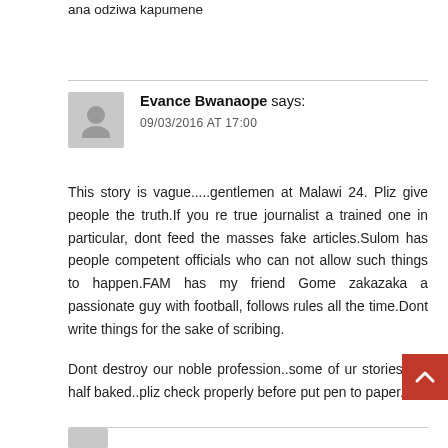ana odziwa kapumene
Evance Bwanaope says:
09/03/2016 AT 17:00
This story is vague.....gentlemen at Malawi 24. Pliz give people the truth.If you re true journalist a trained one in particular, dont feed the masses fake articles.Sulom has people competent officials who can not allow such things to happen.FAM has my friend Gome zakazaka a passionate guy with football, follows rules all the time.Dont write things for the sake of scribing.
Dont destroy our noble profession..some of ur stories are half baked..pliz check properly before put pen to paper....